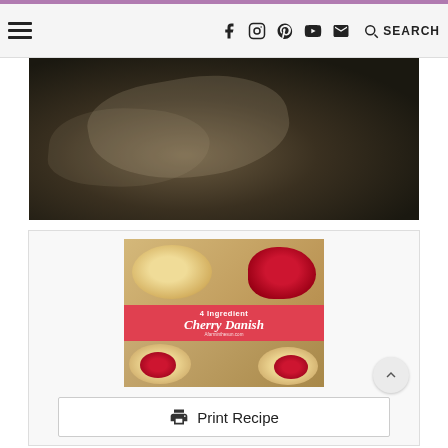Navigation bar with hamburger menu, social icons (Facebook, Instagram, Pinterest, YouTube, Email), search icon and SEARCH label
[Figure (photo): Dark close-up photo of bread/pastry dough being stretched or rolled out on a dark surface]
[Figure (photo): Cherry Danish pastry recipe card image showing cherry danishes with text overlay: 4 Ingredient Cherry Danish, with website URL]
Print Recipe